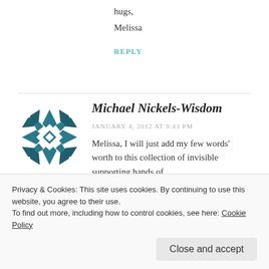hugs,
Melissa
REPLY
[Figure (illustration): Blog commenter avatar — geometric quilt-style icon in dark teal/blue with diamond and cross pattern]
Michael Nickels-Wisdom
JANUARY 4, 2012 AT 9:43 PM
Melissa, I will just add my few words' worth to this collection of invisible supporting hands of
Privacy & Cookies: This site uses cookies. By continuing to use this website, you agree to their use.
To find out more, including how to control cookies, see here: Cookie Policy
Close and accept